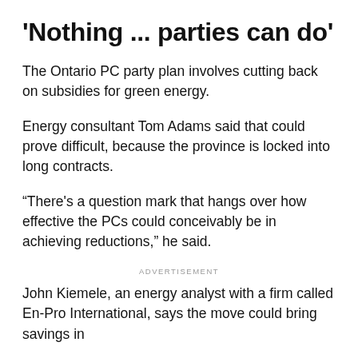'Nothing ... parties can do'
The Ontario PC party plan involves cutting back on subsidies for green energy.
Energy consultant Tom Adams said that could prove difficult, because the province is locked into long contracts.
“There's a question mark that hangs over how effective the PCs could conceivably be in achieving reductions,” he said.
ADVERTISEMENT
John Kiemele, an energy analyst with a firm called En-Pro International, says the move could bring savings in